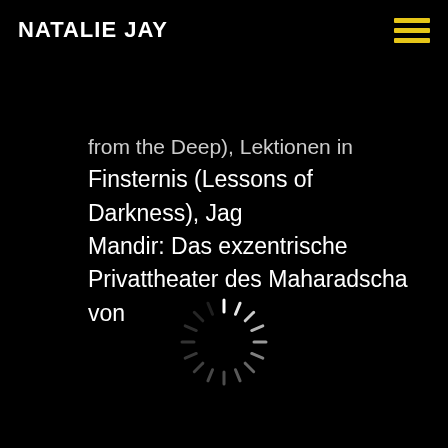NATALIE JAY
from the Deep), Lektionen in Finsternis (Lessons of Darkness), Jag Mandir: Das exzentrische Privattheater des Maharadscha von
[Figure (other): Loading spinner — a circle of short dashes arranged radially, white on black background]